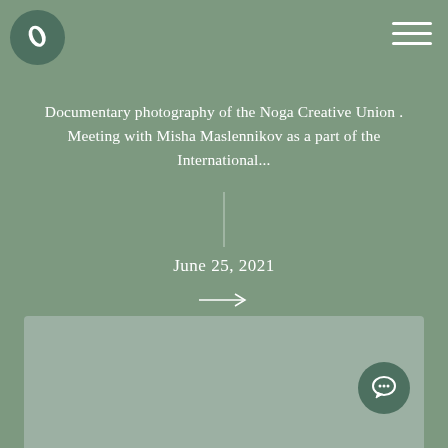Logo and navigation header
Documentary photography of the Noga Creative Union . Meeting with Misha Maslennikov as a part of the International...
June 25, 2021
[Figure (photo): Placeholder photo area with muted sage green background]